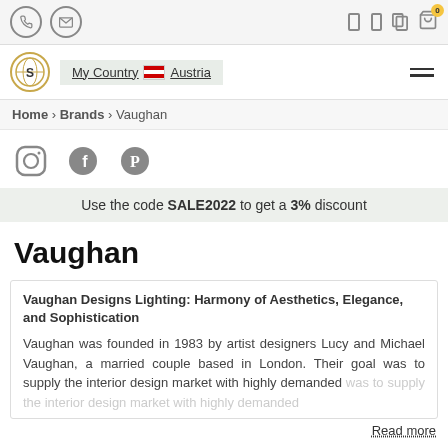Phone and mail icons, navigation icons, cart with 0 items
[Figure (logo): S logo circle with globe, My Country Austria flag button, hamburger menu]
Home > Brands > Vaughan
[Figure (infographic): Instagram, Facebook, Pinterest social media icons]
Use the code SALE2022 to get a 3% discount
Vaughan
Vaughan Designs Lighting: Harmony of Aesthetics, Elegance, and Sophistication

Vaughan was founded in 1983 by artist designers Lucy and Michael Vaughan, a married couple based in London. Their goal was to supply the interior design market with highly demanded
Read more